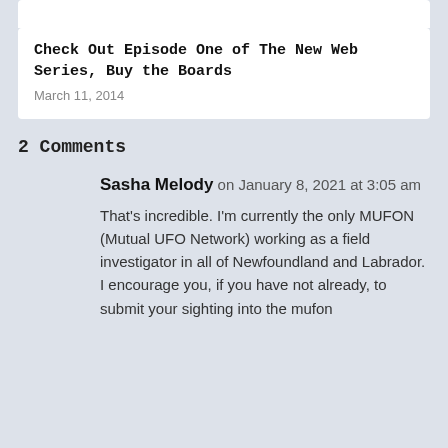Check Out Episode One of The New Web Series, Buy the Boards
March 11, 2014
2 Comments
Sasha Melody on January 8, 2021 at 3:05 am
That’s incredible. I’m currently the only MUFON (Mutual UFO Network) working as a field investigator in all of Newfoundland and Labrador. I encourage you, if you have not already, to submit your sighting into the mufon